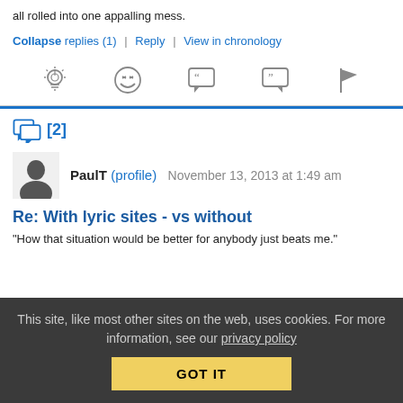all rolled into one appalling mess.
Collapse replies (1) | Reply | View in chronology
[Figure (infographic): Row of five icon buttons: lightbulb idea icon, laughing face emoji icon, quote bubble with open quotes, quote bubble with close quotes, flag icon]
[2]
PaulT (profile)   November 13, 2013 at 1:49 am
Re: With lyric sites - vs without
“How that situation would be better for anybody just beats me.”
This site, like most other sites on the web, uses cookies. For more information, see our privacy policy
GOT IT